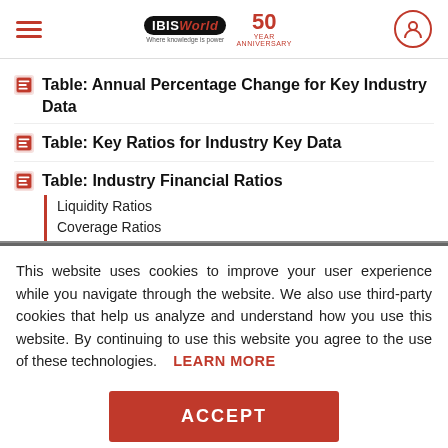IBISWorld 50th Anniversary
Table: Annual Percentage Change for Key Industry Data
Table: Key Ratios for Industry Key Data
Table: Industry Financial Ratios
Liquidity Ratios
Coverage Ratios
This website uses cookies to improve your user experience while you navigate through the website. We also use third-party cookies that help us analyze and understand how you use this website. By continuing to use this website you agree to the use of these technologies. LEARN MORE
ACCEPT